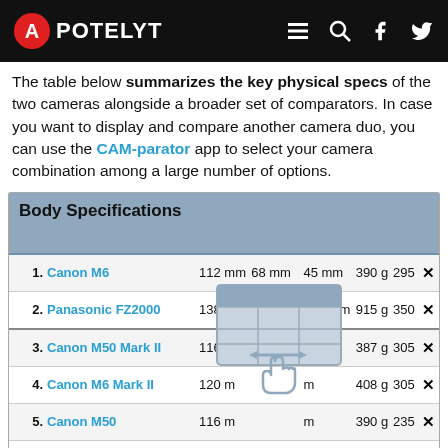APOTELYT
The table below summarizes the key physical specs of the two cameras alongside a broader set of comparators. In case you want to display and compare another camera duo, you can use the CAM-parator app to select your camera combination among a large number of options.
|  | Body Specifications |  |  |  |  |  |  |
| --- | --- | --- | --- | --- | --- | --- | --- |
| 1. | Canon M6 | 112 mm | 68 mm | 45 mm | 390 g | 295 | ✕ |
| 2. | Panasonic FZ2000 | 138 mm | 102 mm | 135 mm | 915 g | 350 | ✕ |
| 3. | Canon M50 Mark II | 116 m |  | m | 387 g | 305 | ✕ |
| 4. | Canon M6 Mark II | 120 m |  | m | 408 g | 305 | ✕ |
| 5. | Canon M50 | 116 m |  | m | 390 g | 235 | ✕ |
| 6. | Canon T7 | 129 mm | 101 mm | 78 mm | 475 g | 500 | ✕ |